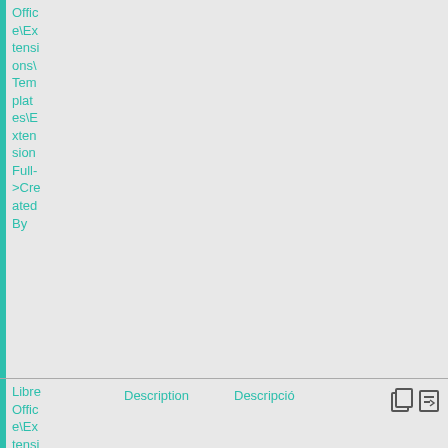|  | Path | Description (EN) | Description (CA) | Actions |
| --- | --- | --- | --- | --- |
|  | LibreOffice\Extensions\Templates\ExtensionFull->CreatedBy |  |  |  |
|  | LibreOffice\Extensions\Templates\Tem... | Description | Descripció | [icons] |